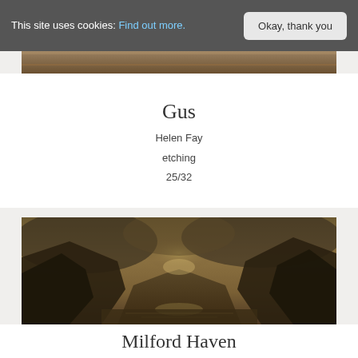This site uses cookies: Find out more.  Okay, thank you
[Figure (photo): Partial view of an etching artwork at top of page]
Gus
Helen Fay
etching
25/32
[Figure (photo): Sepia-toned etching of a dramatic fjord or valley landscape with dark mountains and stormy clouds, titled Milford Haven]
Milford Haven